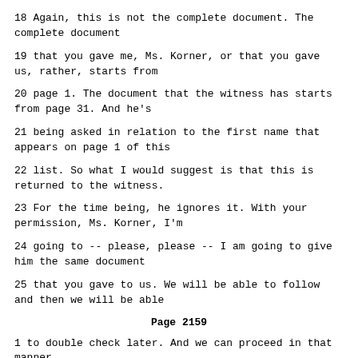18 Again, this is not the complete document. The complete document
19 that you gave me, Ms. Korner, or that you gave us, rather, starts from
20 page 1. The document that the witness has starts from page 31. And he's
21 being asked in relation to the first name that appears on page 1 of this
22 list. So what I would suggest is that this is returned to the witness.
23 For the time being, he ignores it. With your permission, Ms. Korner, I'm
24 going to -- please, please -- I am going to give him the same document
25 that you gave to us. We will be able to follow and then we will be able
Page 2159
1 to double check later. And we can proceed in that manner.
2 MS. KORNER: And I see the registrar appears to have